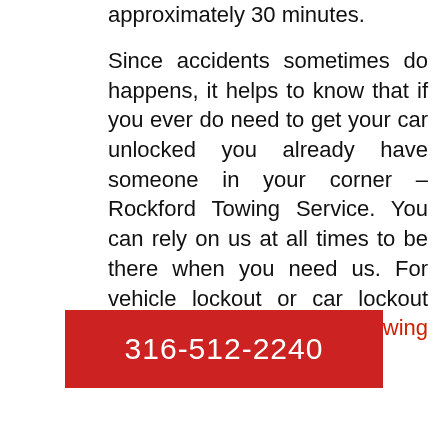approximately 30 minutes.
Since accidents sometimes do happens, it helps to know that if you ever do need to get your car unlocked you already have someone in your corner – Rockford Towing Service. You can rely on us at all times to be there when you need us. For vehicle lockout or car lockout service call Rockford Towing company.
316-512-2240